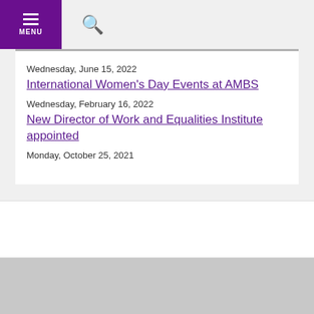MENU
Wednesday, June 15, 2022
International Women's Day Events at AMBS
Wednesday, February 16, 2022
New Director of Work and Equalities Institute appointed
Monday, October 25, 2021